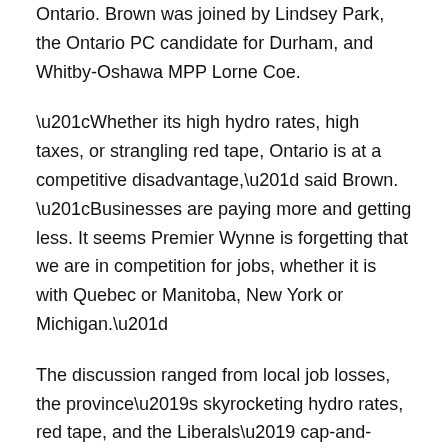Ontario. Brown was joined by Lindsey Park, the Ontario PC candidate for Durham, and Whitby-Oshawa MPP Lorne Coe.
“Whether its high hydro rates, high taxes, or strangling red tape, Ontario is at a competitive disadvantage,” said Brown. “Businesses are paying more and getting less. It seems Premier Wynne is forgetting that we are in competition for jobs, whether it is with Quebec or Manitoba, New York or Michigan.”
The discussion ranged from local job losses, the province’s skyrocketing hydro rates, red tape, and the Liberals’ cap-and-trade cash grab.
“Durham is home to world-class businesses and a talented workforce, but Wynne Liberal policies are